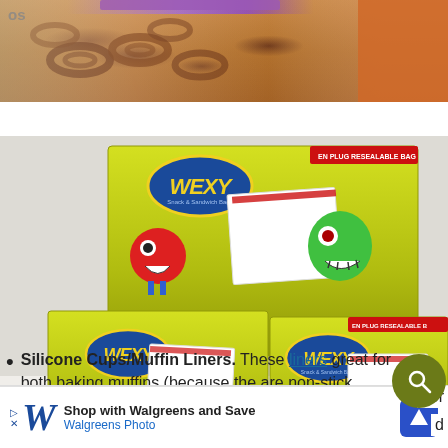[Figure (photo): Partial view of a zip-lock bag containing pretzels and another bag with orange snacks, cropped at top of image]
[Figure (photo): Three yellow-green boxes of WEXY brand resealable snack bags stacked together, featuring cartoon monster characters]
Silicone Cups/Muffin Liners. These liners great for both baking muffins (because they are non-stick, colorful and reusable!) and for adding some cuteness to your child's
[Figure (screenshot): Walgreens Photo advertisement banner: Shop with Walgreens and Save, Walgreens Photo]